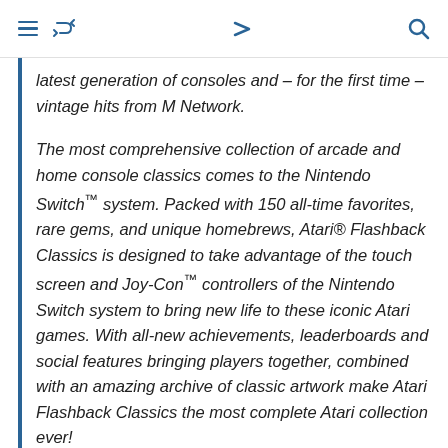[navigation icons: hamburger menu, retweet icon, chevron down, search icon]
latest generation of consoles and – for the first time – vintage hits from M Network.
The most comprehensive collection of arcade and home console classics comes to the Nintendo Switch™ system. Packed with 150 all-time favorites, rare gems, and unique homebrews, Atari® Flashback Classics is designed to take advantage of the touch screen and Joy-Con™ controllers of the Nintendo Switch system to bring new life to these iconic Atari games. With all-new achievements, leaderboards and social features bringing players together, combined with an amazing archive of classic artwork make Atari Flashback Classics the most complete Atari collection ever!